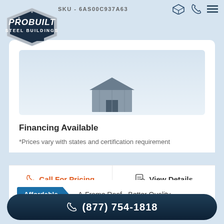SKU - 6AS00C937A63
[Figure (logo): ProBuilt Steel Buildings logo - dark navy hexagon badge with white bold text]
Financing Available
*Prices vary with states and certification requirement
Call For Pricing
View Details
Affordable  A-Frame Roof - Better Quality
(877) 754-1818